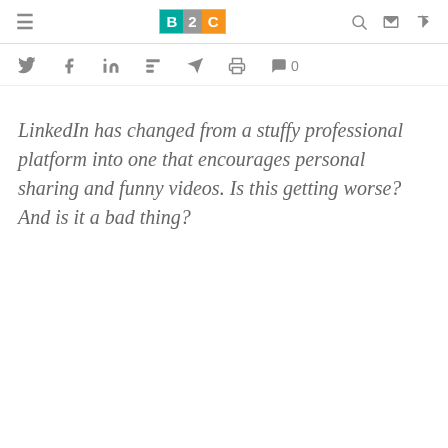B2C logo with hamburger menu and navigation icons
[Figure (other): Social sharing icon bar with Twitter, Facebook, LinkedIn, Flipboard, send, print icons and comment count 0]
LinkedIn has changed from a stuffy professional platform into one that encourages personal sharing and funny videos. Is this getting worse? And is it a bad thing?